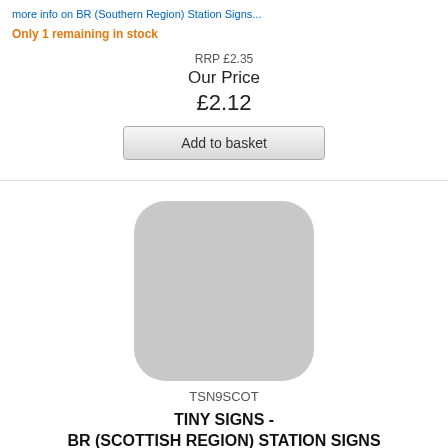more info on BR (Southern Region) Station Signs...
Only 1 remaining in stock
RRP £2.35
Our Price
£2.12
Add to basket
[Figure (illustration): Rounded square grey placeholder image for product TSN9SCOT]
TSN9SCOT
TINY SIGNS -
BR (SCOTTISH REGION) STATION SIGNS